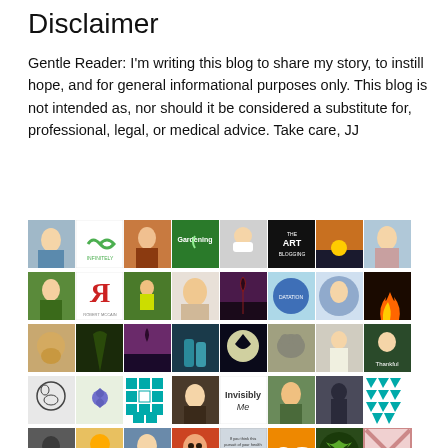Disclaimer
Gentle Reader: I'm writing this blog to share my story, to instill hope, and for general informational purposes only. This blog is not intended as, nor should it be considered a substitute for, professional, legal, or medical advice. Take care, JJ
[Figure (photo): A collage grid of approximately 40 small blog/profile images arranged in 5 rows and 8 columns, including portraits, logos, nature photos, and various blog icons.]